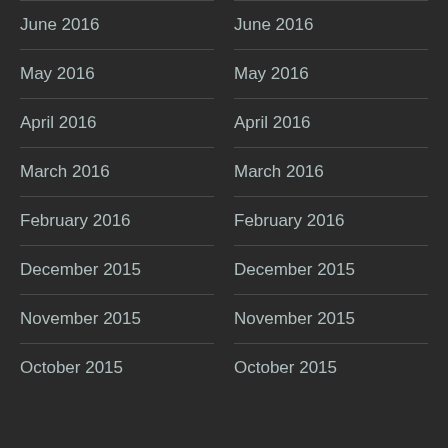June 2016
May 2016
April 2016
March 2016
February 2016
December 2015
November 2015
October 2015
June 2016
May 2016
April 2016
March 2016
February 2016
December 2015
November 2015
October 2015